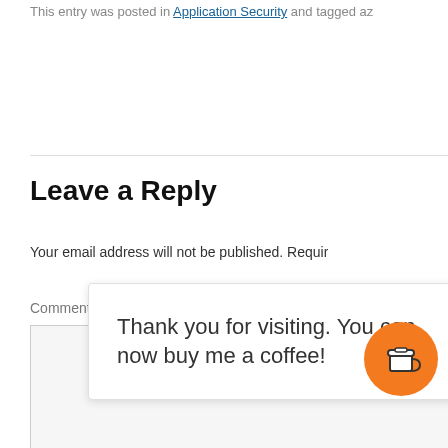This entry was posted in Application Security and tagged az
Leave a Reply
Your email address will not be published. Requir
Comment *
Thank you for visiting. You can now buy me a coffee!